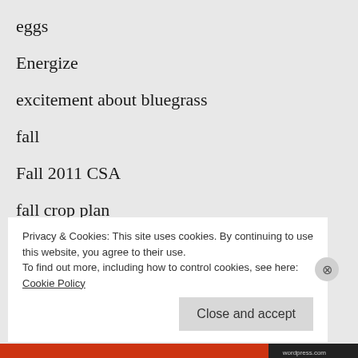eggs
Energize
excitement about bluegrass
fall
Fall 2011 CSA
fall crop plan
Fall CSA
fall vegetables
Privacy & Cookies: This site uses cookies. By continuing to use this website, you agree to their use.
To find out more, including how to control cookies, see here: Cookie Policy
Close and accept